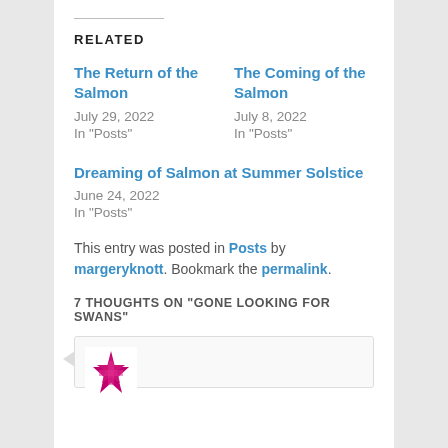RELATED
The Return of the Salmon
July 29, 2022
In "Posts"
The Coming of the Salmon
July 8, 2022
In "Posts"
Dreaming of Salmon at Summer Solstice
June 24, 2022
In "Posts"
This entry was posted in Posts by margeryknott. Bookmark the permalink.
7 THOUGHTS ON "GONE LOOKING FOR SWANS"
[Figure (illustration): Comment avatar icon — decorative star/snowflake pattern in magenta/pink color]